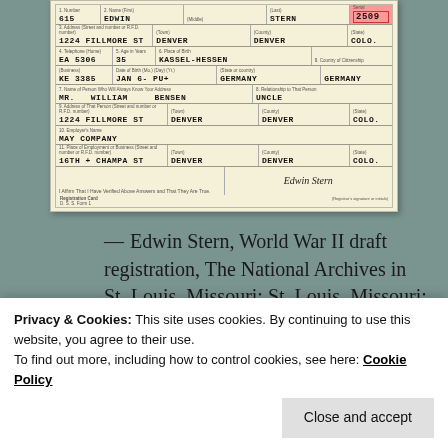[Figure (other): World War II draft registration card for Edwin Stern, showing handwritten entries for name (615, Edwin, Stern, 2509), address (1224 Fillmore St, Denver, Denver, Colo.), telephone (EA 5306, KE 3385), age (35), place of birth (Kassel-Hessen, Germany), date of birth (Jan 6-[year]), country of citizenship (Germany), emergency contact (Mr. William Bensen, Uncle, 1224 Fillmore St, Denver, Denver Colo.), employer (May Company, 16th + Champa St, Denver, Denver Colo.), and signature.]
— Edwin Stern, World War II draft registration, The National Archives in St. Louis, Missouri; St. Louis, Missouri; Record Group: Records of
Privacy & Cookies: This site uses cookies. By continuing to use this website, you agree to their use.
To find out more, including how to control cookies, see here: Cookie Policy
Close and accept